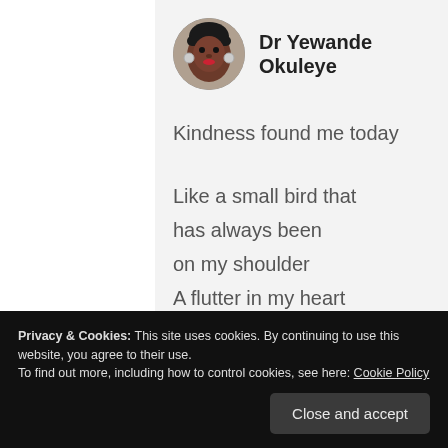Dr Yewande Okuleye
Kindness found me today

Like a small bird that
has always been
on my shoulder
A flutter in my heart
A stirring in my soul
Privacy & Cookies: This site uses cookies. By continuing to use this website, you agree to their use.
To find out more, including how to control cookies, see here: Cookie Policy
present